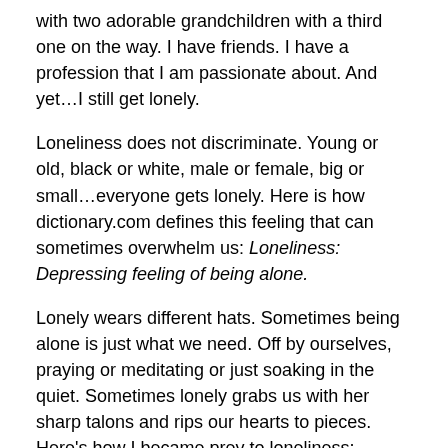with two adorable grandchildren with a third one on the way. I have friends. I have a profession that I am passionate about. And yet…I still get lonely.
Loneliness does not discriminate. Young or old, black or white, male or female, big or small…everyone gets lonely. Here is how dictionary.com defines this feeling that can sometimes overwhelm us: Loneliness: Depressing feeling of being alone.
Lonely wears different hats. Sometimes being alone is just what we need. Off by ourselves, praying or meditating or just soaking in the quiet. Sometimes lonely grabs us with her sharp talons and rips our hearts to pieces. Here's how I became prey to loneliness:
Loneliness grabbed me with her piercing claws in 2004, and it has been a rollercoaster ride of remission...